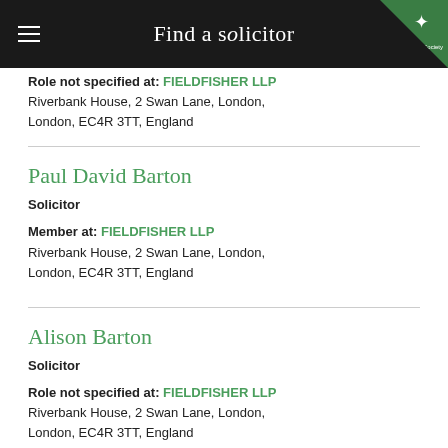Find a solicitor
Role not specified at: FIELDFISHER LLP
Riverbank House, 2 Swan Lane, London,
London, EC4R 3TT, England
Paul David Barton
Solicitor
Member at: FIELDFISHER LLP
Riverbank House, 2 Swan Lane, London,
London, EC4R 3TT, England
Alison Barton
Solicitor
Role not specified at: FIELDFISHER LLP
Riverbank House, 2 Swan Lane, London,
London, EC4R 3TT, England